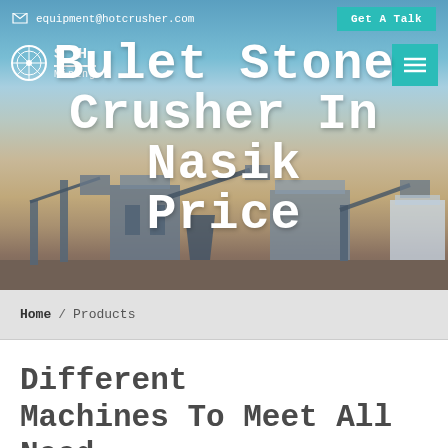[Figure (screenshot): Website hero banner showing a mining/stone crushing facility industrial site with machinery and conveyor belts against a blue sky background]
equipment@hotcrusher.com   Get A Talk
S H Mining (logo)
Bulet Stone Crusher In Nasik Price
Home / Products
Different Machines To Meet All Need